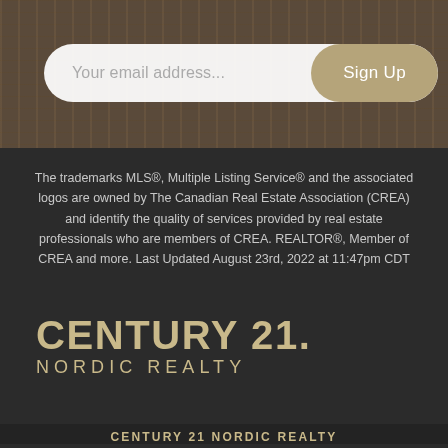[Figure (screenshot): Email signup bar with placeholder 'Your email address...' and a tan 'Sign Up' button, on a wood-grain texture background]
The trademarks MLS®, Multiple Listing Service® and the associated logos are owned by The Canadian Real Estate Association (CREA) and identify the quality of services provided by real estate professionals who are members of CREA. REALTOR®, Member of CREA and more. Last Updated August 23rd, 2022 at 11:47pm CDT
[Figure (logo): Century 21 Nordic Realty logo in gold/tan on dark background. Text: 'CENTURY 21.' above 'NORDIC REALTY']
CENTURY 21 NORDIC REALTY